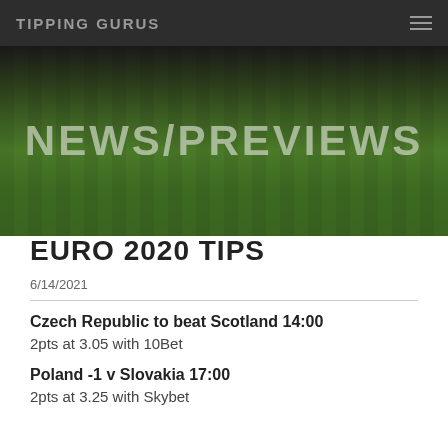TIPPING GURUS
[Figure (photo): Green football pitch grass background with NEWS/PREVIEWS text overlay]
EURO 2020 TIPS
6/14/2021
Czech Republic to beat Scotland 14:00
2pts at 3.05 with 10Bet
Poland -1 v Slovakia 17:00
2pts at 3.25 with Skybet